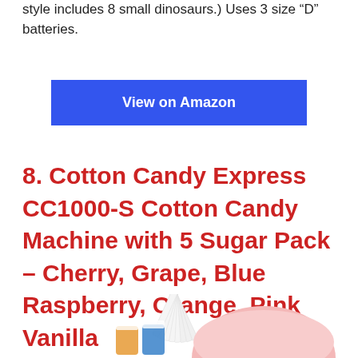style includes 8 small dinosaurs.) Uses 3 size “D” batteries.
View on Amazon
8. Cotton Candy Express CC1000-S Cotton Candy Machine with 5 Sugar Pack – Cherry, Grape, Blue Raspberry, Orange, Pink Vanilla
[Figure (photo): Cotton candy machine with sugar packs and paper cones]